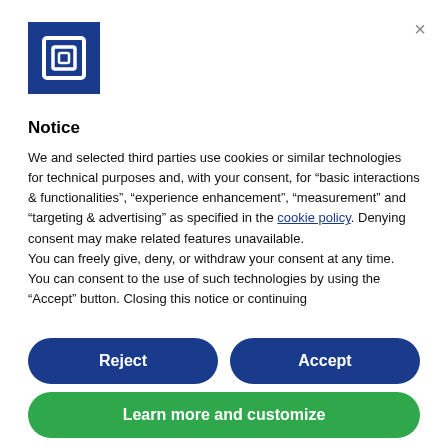[Figure (logo): Blue square logo with a white spiral/square bracket icon inside]
Notice
We and selected third parties use cookies or similar technologies for technical purposes and, with your consent, for “basic interactions & functionalities”, “experience enhancement”, “measurement” and “targeting & advertising” as specified in the cookie policy. Denying consent may make related features unavailable.
You can freely give, deny, or withdraw your consent at any time.
You can consent to the use of such technologies by using the “Accept” button. Closing this notice or continuing...
Reject
Accept
Learn more and customize